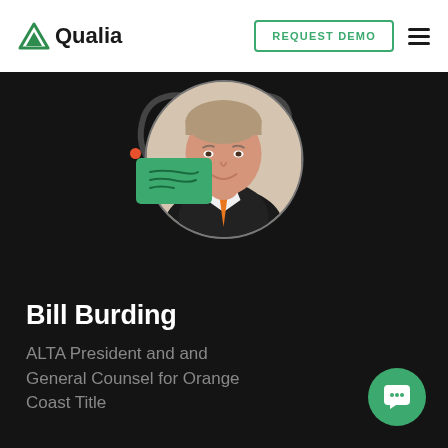Qualia | REQUEST DEMO
[Figure (photo): Headshot of Bill Burding in a circular frame against dark background, with a decorative large quotation mark, an orange dot, and a green speech bubble with handwritten-style text lines on the left.]
Bill Burding
ALTA President and and General Counsel for Orange Coast Title